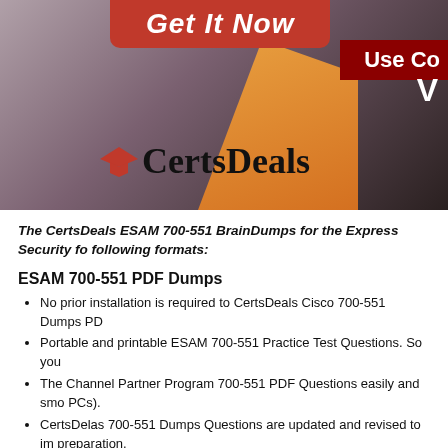[Figure (illustration): CertsDeals website banner with 'Get It Now' red button, 'Use Co' text on dark red background, CertsDeals logo with graduation cap, orange diagonal shape, and partial 'W' text.]
The CertsDeals ESAM 700-551 BrainDumps for the Express Security fo following formats:
ESAM 700-551 PDF Dumps
No prior installation is required to CertsDeals Cisco 700-551 Dumps PD
Portable and printable ESAM 700-551 Practice Test Questions. So you
The Channel Partner Program 700-551 PDF Questions easily and smo PCs).
CertsDelas 700-551 Dumps Questions are updated and revised to im preparation.
ESAM 700-551 Practice Exam Software
Various trusted 700-551 mock tests are included in the ESAM 700-551 assessment.